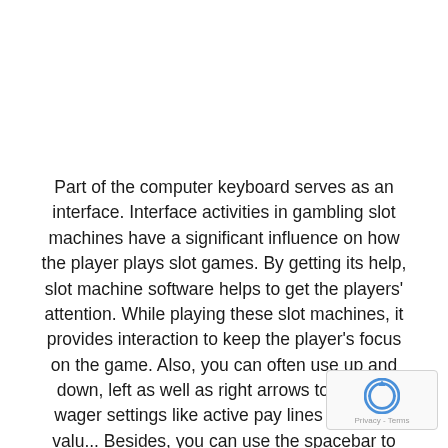Part of the computer keyboard serves as an interface. Interface activities in gambling slot machines have a significant influence on how the player plays slot games. By getting its help, slot machine software helps to get the players' attention. While playing these slot machines, it provides interaction to keep the player's focus on the game. Also, you can often use up and down, left as well as right arrows to change wager settings like active pay lines and coin val... Besides, you can use the spacebar to initiate spi... helps software programmers to use various spe...
[Figure (other): reCAPTCHA badge with spinning arrow logo and 'Privacy - Terms' text]